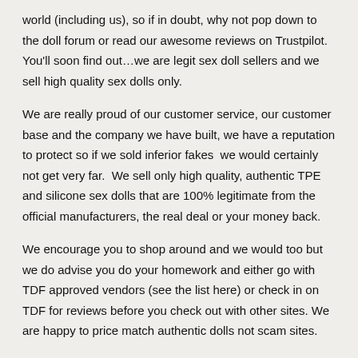world (including us), so if in doubt, why not pop down to the doll forum or read our awesome reviews on Trustpilot. You'll soon find out…we are legit sex doll sellers and we sell high quality sex dolls only.
We are really proud of our customer service, our customer base and the company we have built, we have a reputation to protect so if we sold inferior fakes  we would certainly not get very far.  We sell only high quality, authentic TPE and silicone sex dolls that are 100% legitimate from the official manufacturers, the real deal or your money back.
We encourage you to shop around and we would too but we do advise you do your homework and either go with TDF approved vendors (see the list here) or check in on TDF for reviews before you check out with other sites. We are happy to price match authentic dolls not scam sites.
Are your dolls 100% authentic sex dolls?
Yes, abso-freaking-lutely! We only sell dolls made by the world's best